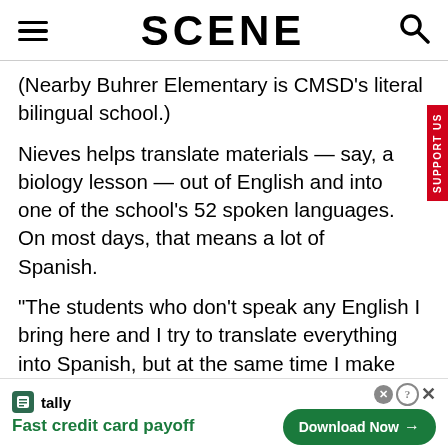SCENE
(Nearby Buhrer Elementary is CMSD's literal bilingual school.)
Nieves helps translate materials — say, a biology lesson — out of English and into one of the school's 52 spoken languages. On most days, that means a lot of Spanish.
"The students who don't speak any English I bring here and I try to translate everything into Spanish, but at the same time I make sure that they know the meaning in English," he says. "They need to know English in America. They need to learn English. I combine them. That's my method to teach
[Figure (screenshot): Tally app advertisement banner: 'Fast credit card payoff' with a Download Now button]